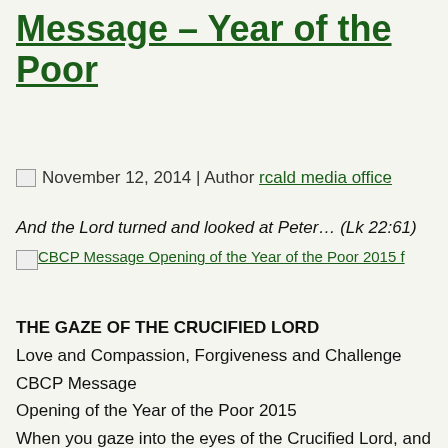Message – Year of the Poor
November 12, 2014 | Author rcald media office
And the Lord turned and looked at Peter… (Lk 22:61)
[Figure (other): CBCP Message Opening of the Year of the Poor 2015 (broken image link)]
THE GAZE OF THE CRUCIFIED LORD
Love and Compassion, Forgiveness and Challenge
CBCP Message
Opening of the Year of the Poor 2015
When you gaze into the eyes of the Crucified Lord, and he gazes into yours, you encounter the love of the Resurrected Lord. Many prefer not to look. Many